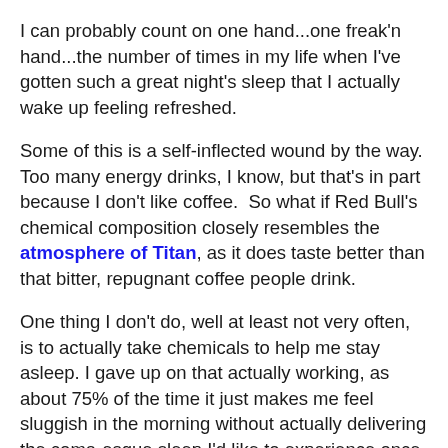I can probably count on one hand...one freak'n hand...the number of times in my life when I've gotten such a great night's sleep that I actually wake up feeling refreshed.
Some of this is a self-inflected wound by the way.  Too many energy drinks, I know, but that's in part because I don't like coffee.  So what if Red Bull's chemical composition closely resembles the atmosphere of Titan, as it does taste better than that bitter, repugnant coffee people drink.
One thing I don't do, well at least not very often, is to actually take chemicals to help me stay asleep. I gave up on that actually working, as about 75% of the time it just makes me feel sluggish in the morning without actually delivering the coma-esque sleep I'd like to experience once or twice a decade.  Nothing like waking up in the middle of the night, groggy as heck, but not  getting the benefit of actually feeling better in the morning.
Now I think I at least have solved the mystery, all be it for me, of how to fall asleep.  By and large taking a large dose